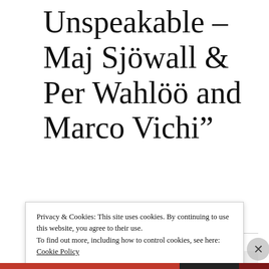Unspeakable – Maj Sjöwall & Per Wahlöö and Marco Vichi”
[Figure (other): Circular avatar image with purple/lavender background showing a magnifying glass and letters, representing user bernadetteinoz]
bernadetteinoz
Privacy & Cookies: This site uses cookies. By continuing to use this website, you agree to their use.
To find out more, including how to control cookies, see here: Cookie Policy
Close and accept